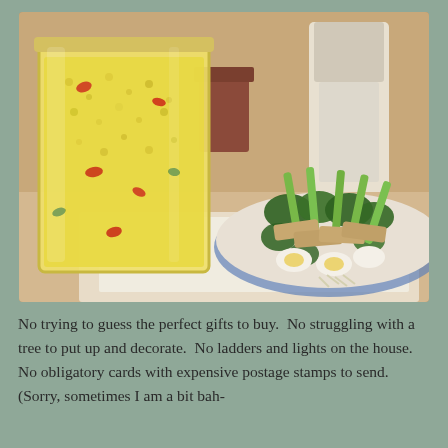[Figure (photo): A food spread on a table: on the left, a large glass jar or container filled with what appears to be a yellow grain or corn salad with red pepper pieces. On the right, a large platter with celery sticks, parsley garnish, sliced chicken or turkey, and what appear to be deviled eggs or similar appetizers. A person in a white apron is partially visible in the background.]
No trying to guess the perfect gifts to buy.  No struggling with a tree to put up and decorate.  No ladders and lights on the house.  No obligatory cards with expensive postage stamps to send.  (Sorry, sometimes I am a bit bah-